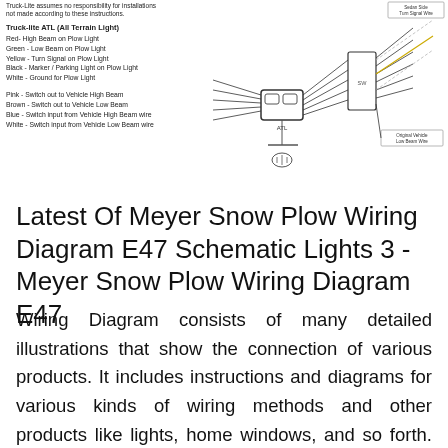[Figure (schematic): Truck-Lite wiring diagram for All Terrain Light (ATL) showing plow light wiring connections with labeled wires and a schematic of the light assembly with vehicle connections]
Truck-Lite assumes no responsibility for installations not made according to these instructions.
Truck-lite ATL (All Terrain Light)
Red- High Beam on Plow Light
Green - Low Beam on Plow Light
Yellow - Turn Signal on Plow Light
Black - Marker / Parking Light on Plow Light
White - Ground for Plow Light

Pink - Switch out to Vehicle High Beam
Brown - Switch out to Vehicle Low Beam
Blue - Switch input from Vehicle High Beam wire
White - Switch input from Vehicle Low Beam wire
Latest Of Meyer Snow Plow Wiring Diagram E47 Schematic Lights 3 - Meyer Snow Plow Wiring Diagram E47
Wiring Diagram consists of many detailed illustrations that show the connection of various products. It includes instructions and diagrams for various kinds of wiring methods and other products like lights, home windows, and so forth. The guide includes a great deal of practical tips for numerous scenarios that you may encounter